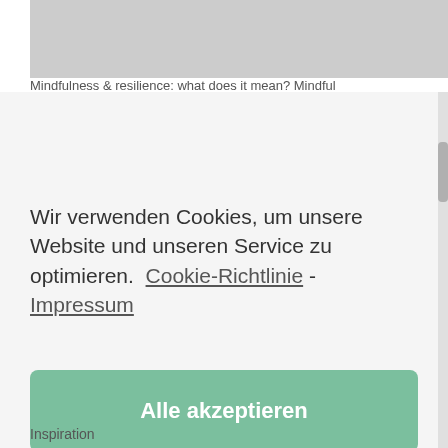[Figure (screenshot): Partially visible top image area, grayed out]
Mindfulness & resilience: what does it mean? Mindful
Wir verwenden Cookies, um unsere Website und unseren Service zu optimieren.  Cookie-Richtlinie - Impressum
Alle akzeptieren
Nur funktionale Cookies
Einstellungen anzeigen
Inspiration